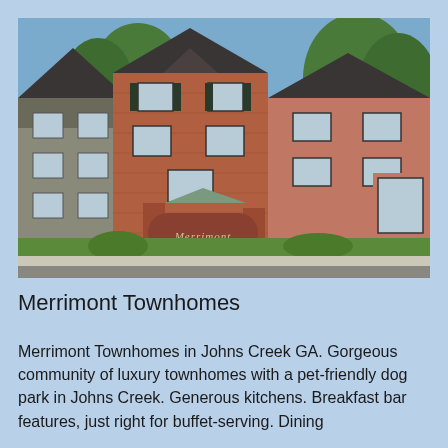[Figure (photo): Exterior photo of Merrimont Townhomes showing brick multi-story townhome buildings with dark shutters, a community entrance sign reading 'Merrimont', green landscaping, trees, and a street in the foreground under a blue sky.]
Merrimont Townhomes
Merrimont Townhomes in Johns Creek GA. Gorgeous community of luxury townhomes with a pet-friendly dog park in Johns Creek. Generous kitchens. Breakfast bar features, just right for buffet-serving. Dining...